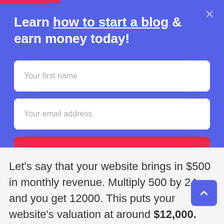Learn how to start a blog & earn money today!
Your first name
Your email address
Sign up
Let's say that your website brings in $500 in monthly revenue. Multiply 500 by 24, and you get 12000. This puts your website's valuation at around $12,000.